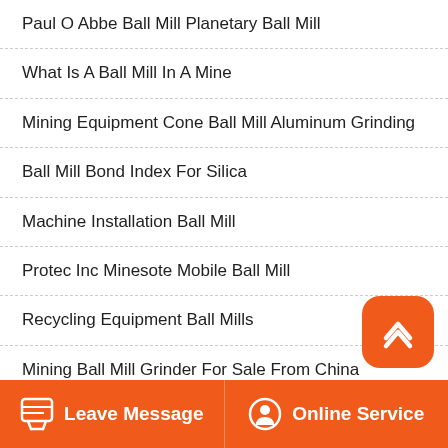Paul O Abbe Ball Mill Planetary Ball Mill
What Is A Ball Mill In A Mine
Mining Equipment Cone Ball Mill Aluminum Grinding
Ball Mill Bond Index For Silica
Machine Installation Ball Mill
Protec Inc Minesote Mobile Ball Mill
Recycling Equipment Ball Mills
Mining Ball Mill Grinder For Sale From China
Tumbler Gold Ball Mill
Subsidy On Wet Ball Mill
[Figure (other): Orange scroll-to-top button with upward chevron icon]
Leave Message | Online Service